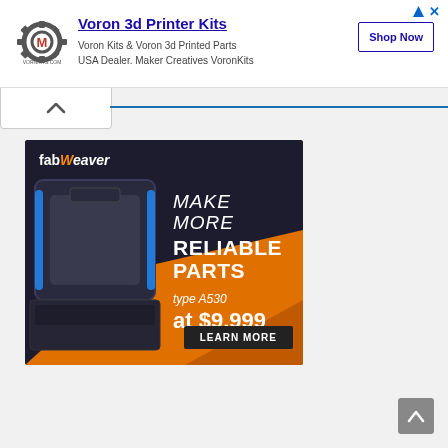[Figure (screenshot): Top banner advertisement for Voron 3d Printer Kits by Maker Creatives VoronKits. Shows logo, headline, subtext, and Shop Now button. Corner has ad icons (arrow and X).]
[Figure (screenshot): FabWeaver advertisement banner. Dark background with orange diagonal stripe. Shows 3D printer image on left, text: MAKE MORE RELIABLE PARTS, type A530, at $9,999, LEARN MORE button.]
[Figure (other): Scroll to top button in bottom right corner - gray rounded square with upward chevron.]